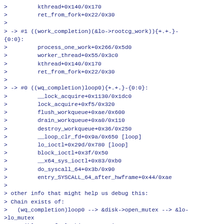>         kthread+0x140/0x170
>         ret_from_fork+0x22/0x30
>
> -> #1 ((work_completion)(&lo->rootcg_work)){+.+.}-{0:0}:
>         process_one_work+0x266/0x5d0
>         worker_thread+0x55/0x3c0
>         kthread+0x140/0x170
>         ret_from_fork+0x22/0x30
>
> -> #0 ((wq_completion)loop0){+.+.}-{0:0}:
>         __lock_acquire+0x1130/0x1dc0
>         lock_acquire+0xf5/0x320
>         flush_workqueue+0xae/0x600
>         drain_workqueue+0xa0/0x110
>         destroy_workqueue+0x36/0x250
>         __loop_clr_fd+0x9a/0x650 [loop]
>         lo_ioctl+0x29d/0x780 [loop]
>         block_ioctl+0x3f/0x50
>         __x64_sys_ioctl+0x83/0xb0
>         do_syscall_64+0x3b/0x90
>         entry_SYSCALL_64_after_hwframe+0x44/0xae
>
> other info that might help us debug this:
> Chain exists of:
>   (wq_completion)loop0 --> &disk->open_mutex --> &lo->lo_mutex
> Possible unsafe locking scenario:
>       CPU0                    CPU1
>       ----                    ----